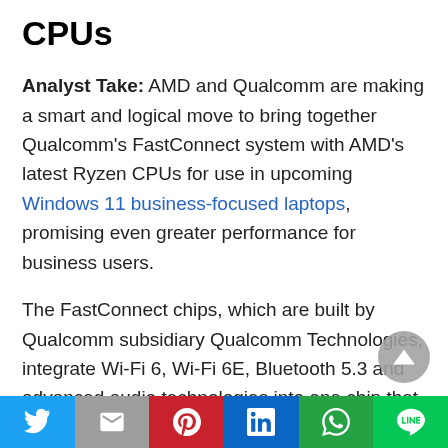CPUs
Analyst Take: AMD and Qualcomm are making a smart and logical move to bring together Qualcomm's FastConnect system with AMD's latest Ryzen CPUs for use in upcoming Windows 11 business-focused laptops, promising even greater performance for business users.
The FastConnect chips, which are built by Qualcomm subsidiary Qualcomm Technologies, integrate Wi-Fi 6, Wi-Fi 6E, Bluetooth 5.3 and advanced audio technologies into one chip that is designed to increase speeds and performance for
[Figure (other): Row of social media share buttons: Twitter, Mail, Pinterest, LinkedIn, WhatsApp, Line]